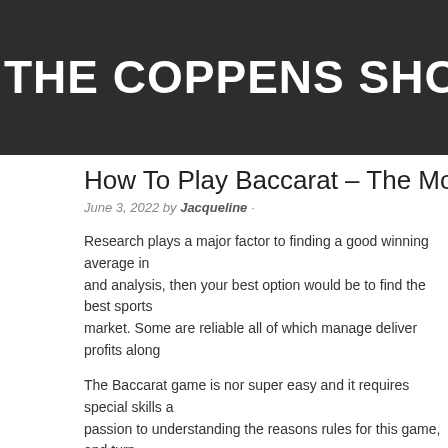THE COPPENS SHOW
How To Play Baccarat – The Most Conv...
June 3, 2022 by Jacqueline ·
Research plays a major factor to finding a good winning average in and analysis, then your best option would be to find the best sports market. Some are reliable all of which manage deliver profits along
The Baccarat game is nor super easy and it requires special skills a passion to understanding the reasons rules for this game, and turn as well as the tie, the skill of a player is not counted in this game. T members and the seating arrangements are dependent on the num